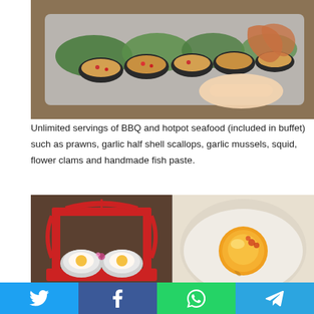[Figure (photo): Overhead view of BBQ and hotpot seafood items including scallops and prawns on a silver tray on a wooden table, with a person's hand visible]
Unlimited servings of BBQ and hotpot seafood (included in buffet) such as prawns, garlic half shell scallops, garlic mussels, squid, flower clams and handmade fish paste.
[Figure (photo): Left: a red wooden frame holding two small pots with eggs; Right: a golden egg yolk floating in a white broth in a hotpot. A watermark reads 'EATZY' at the bottom.]
[Figure (infographic): Social media share bar at the bottom with Twitter (blue), Facebook (dark blue), WhatsApp (green), and Telegram (light blue) buttons with icons]